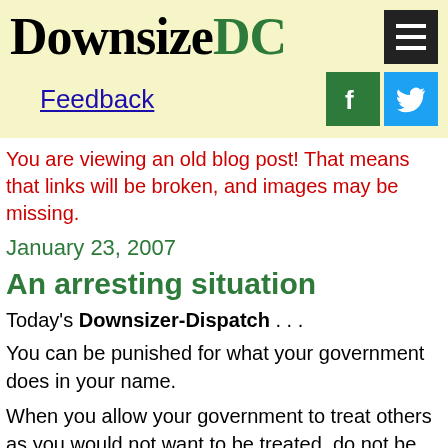Downsize DC
Feedback
You are viewing an old blog post! That means that links will be broken, and images may be missing.
January 23, 2007
An arresting situation
Today's Downsizer-Dispatch . . .
You can be punished for what your government does in your name.
When you allow your government to treat others as you would not want to be treated, do not be surprised if you are treated in the same way by other governments.